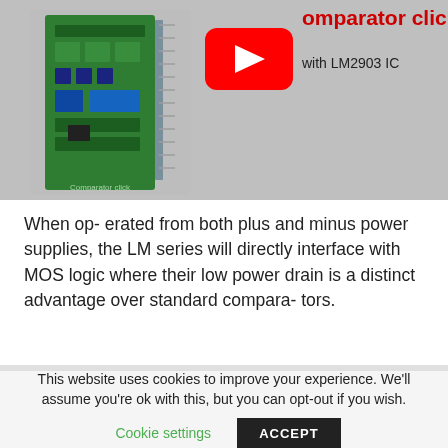[Figure (screenshot): YouTube video thumbnail showing a green PCB board (Comparator click with LM2903 IC) with red YouTube play button and red title text 'Comparator click with LM2903 IC' on a gray background]
When op- erated from both plus and minus power supplies, the LM series will directly interface with MOS logic where their low power drain is a distinct advantage over standard compara- tors.
This website uses cookies to improve your experience. We'll assume you're ok with this, but you can opt-out if you wish.
Cookie settings   ACCEPT